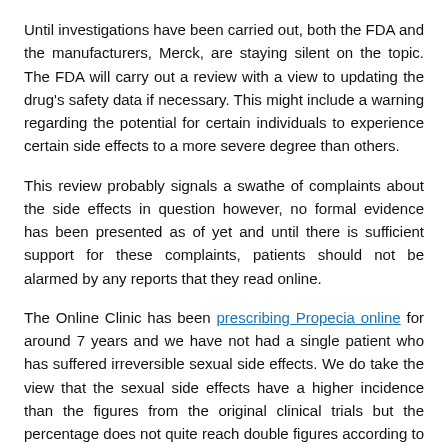Until investigations have been carried out, both the FDA and the manufacturers, Merck, are staying silent on the topic. The FDA will carry out a review with a view to updating the drug's safety data if necessary. This might include a warning regarding the potential for certain individuals to experience certain side effects to a more severe degree than others.
This review probably signals a swathe of complaints about the side effects in question however, no formal evidence has been presented as of yet and until there is sufficient support for these complaints, patients should not be alarmed by any reports that they read online.
The Online Clinic has been prescribing Propecia online for around 7 years and we have not had a single patient who has suffered irreversible sexual side effects. We do take the view that the sexual side effects have a higher incidence than the figures from the original clinical trials but the percentage does not quite reach double figures according to our patient follow-up responses.
Tweet